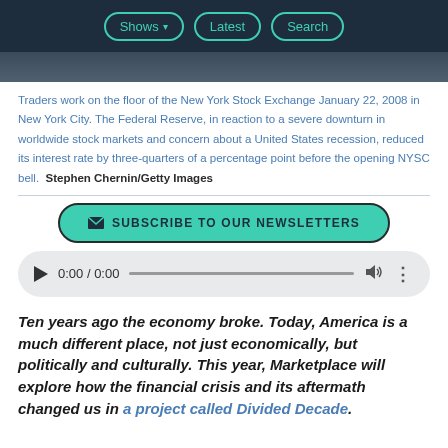Shows  Latest  Search
[Figure (photo): Dark photo strip showing traders on the floor of the New York Stock Exchange]
Traders work on the floor of the New York Stock Exchange January 22, 2008 in New York City. The Federal Reserve, in reaction to a severe downturn in worldwide stock markets and concern about a United States recession, reduced its interest rate by three-quarters of a percentage point before the opening NYSC bell.  Stephen Chernin/Getty Images
[Figure (other): Subscribe to our newsletters button]
[Figure (other): Audio player showing 0:00 / 0:00]
Ten years ago the economy broke. Today, America is a much different place, not just economically, but politically and culturally. This year, Marketplace will explore how the financial crisis and its aftermath changed us in a project called Divided Decade.